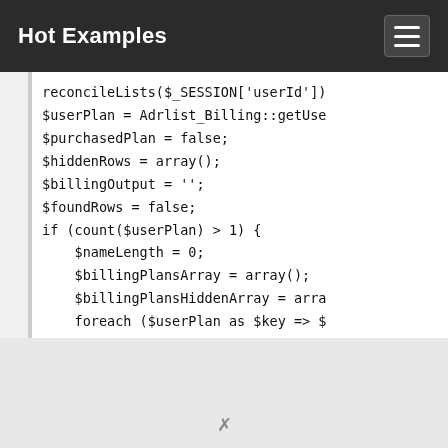Hot Examples
[Figure (screenshot): Code snippet showing PHP code with reconcileLists, userPlan, purchasedPlan, hiddenRows, billingOutput, foundRows variables and a foreach loop with debug and is_numeric calls]